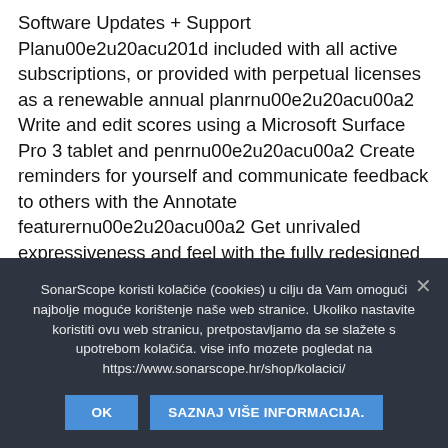Software Updates + Support Planu00e2u20acu201d included with all active subscriptions, or provided with perpetual licenses as a renewable annual planrnu00e2u20acu00a2 Write and edit scores using a Microsoft Surface Pro 3 tablet and penrnu00e2u20acu00a2 Create reminders for yourself and communicate feedback to others with the Annotate featurernu00e2u20acu00a2 Get unrivaled expressiveness and feel with the fully redesigned Espressivo 2.0rnu00e2u20acu00a2 Navigate through large scores quickly with the Timeline windowrnu00e2u20acu00a2 Get
SonarScope koristi kolačiće (cookies) u cilju da Vam omogući najbolje moguće korištenje naše web stranice. Ukoliko nastavite koristiti ovu web stranicu, pretpostavljamo da se slažete s upotrebom kolačića. vise info mozete pogledat na https://www.sonarscope.hr/shop/kolacici/